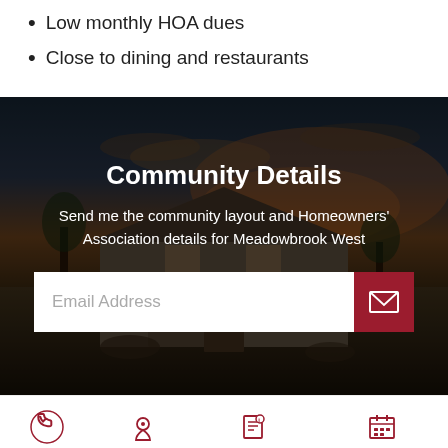Low monthly HOA dues
Close to dining and restaurants
[Figure (photo): House exterior at dusk with dark sky and warm sunset colors, used as banner background for Community Details section]
Community Details
Send me the community layout and Homeowners' Association details for Meadowbrook West
Email Address
Call Us   Visit Us   Request Info   Schedule Tour